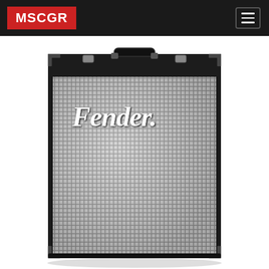MSCGR
[Figure (photo): Fender bass amplifier combo with black cabinet, silver/gray metal grille cloth with grid pattern, Fender script logo in chrome on the grille, black top with carry handle and metal corner protectors, shot from front on white background.]